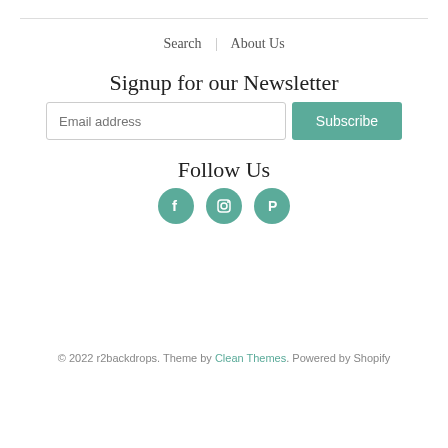Search | About Us
Signup for our Newsletter
Email address  Subscribe
Follow Us
[Figure (infographic): Three social media icons: Facebook, Instagram, Pinterest — teal circular buttons]
[Figure (infographic): Payment method logos: Amazon, Amex, Apple Pay, Diners Club, Discover, Meta, Google Pay, Mastercard, PayPal, Shop Pay, Venmo, Visa]
© 2022 r2backdrops. Theme by Clean Themes. Powered by Shopify